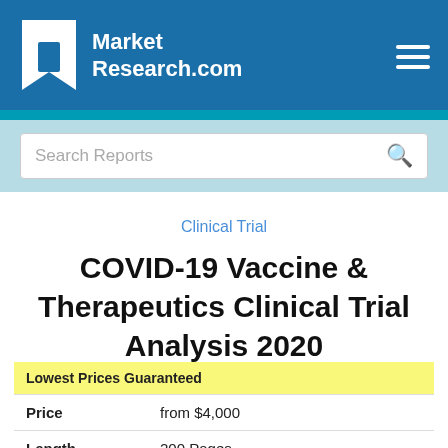Market Research.com
Search Reports
Clinical Trial
COVID-19 Vaccine & Therapeutics Clinical Trial Analysis 2020
| Lowest Prices Guaranteed |  |
| Price | from $4,000 |
| Length | 200 Pages |